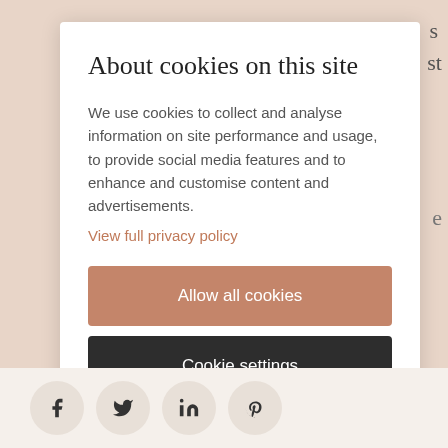About cookies on this site
We use cookies to collect and analyse information on site performance and usage, to provide social media features and to enhance and customise content and advertisements.
View full privacy policy
Allow all cookies
Cookie settings
[Figure (screenshot): Social media share icons: Facebook, Twitter, LinkedIn, Pinterest displayed in circular buttons at the bottom of the page]